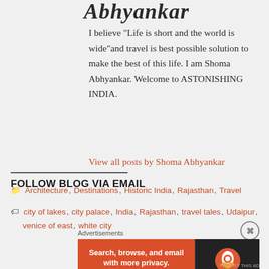Abhyankar
I believe "Life is short and the world is wide"and travel is best possible solution to make the best of this life. I am Shoma Abhyankar. Welcome to ASTONISHING INDIA.
View all posts by Shoma Abhyankar
Architecture, Destinations, Historic India, Rajasthan, Travel
city of lakes, city palace, India, Rajasthan, travel tales, Udaipur, venice of east, white city
FOLLOW BLOG VIA EMAIL
Advertisements
[Figure (other): DuckDuckGo advertisement banner: Search, browse, and email with more privacy. All in One Free App]